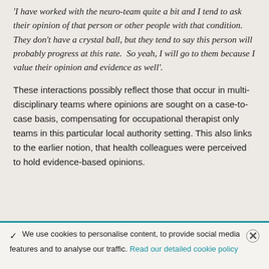'I have worked with the neuro-team quite a bit and I tend to ask their opinion of that person or other people with that condition.  They don't have a crystal ball, but they tend to say this person will probably progress at this rate.  So yeah, I will go to them because I value their opinion and evidence as well'.
These interactions possibly reflect those that occur in multi-disciplinary teams where opinions are sought on a case-to-case basis, compensating for occupational therapist only teams in this particular local authority setting. This also links to the earlier notion, that health colleagues were perceived to hold evidence-based opinions.
✓ We use cookies to personalise content, to provide social media features and to analyse our traffic. Read our detailed cookie policy